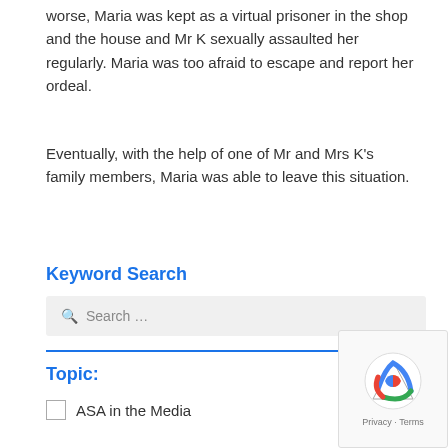worse, Maria was kept as a virtual prisoner in the shop and the house and Mr K sexually assaulted her regularly. Maria was too afraid to escape and report her ordeal.
Eventually, with the help of one of Mr and Mrs K's family members, Maria was able to leave this situation.
Keyword Search
Search …
Topic:
ASA in the Media